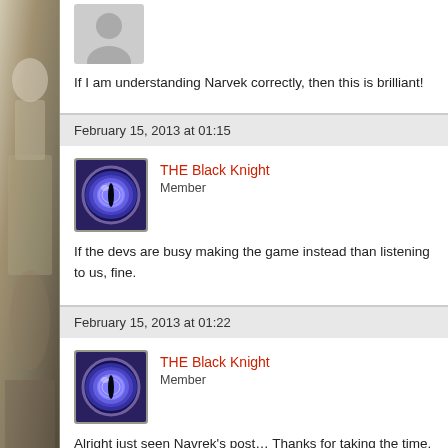[Figure (photo): Default avatar placeholder (grey silhouette)]
If I am understanding Narvek correctly, then this is brilliant!
February 15, 2013 at 01:15
[Figure (photo): THE Black Knight avatar - blue glowing dragon eye]
THE Black Knight
Member
If the devs are busy making the game instead than listening to us, fine.
February 15, 2013 at 01:22
[Figure (photo): THE Black Knight avatar - blue glowing dragon eye]
THE Black Knight
Member
Alright just seen Navrek's post… Thanks for taking the time. All my apo